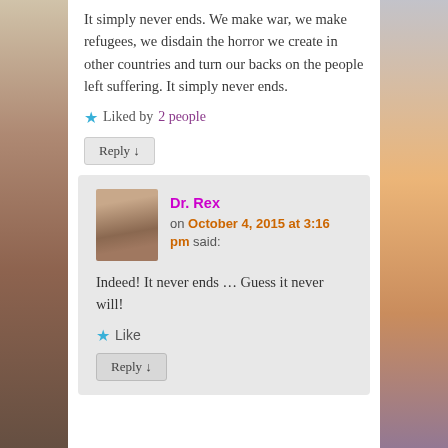It simply never ends. We make war, we make refugees, we disdain the horror we create in other countries and turn our backs on the people left suffering. It simply never ends.
★ Liked by 2 people
Reply ↓
Dr. Rex
on October 4, 2015 at 3:16 pm said:
Indeed! It never ends … Guess it never will!
★ Like
Reply ↓